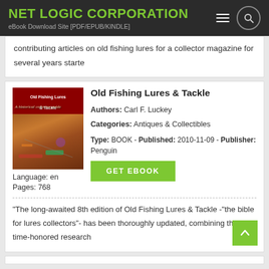NET LOGIC CORPORATION
eBook Download Site [PDF/EPUB/KINDLE]
contributing articles on old fishing lures for a collector magazine for several years starte
Old Fishing Lures & Tackle
Authors: Carl F. Luckey
Categories: Antiques & Collectibles
Type: BOOK - Published: 2010-11-09 - Publisher: Penguin
Language: en
Pages: 768
"The long-awaited 8th edition of Old Fishing Lures & Tackle -"the bible for lures collectors"- has been thoroughly updated, combining the time-honored research